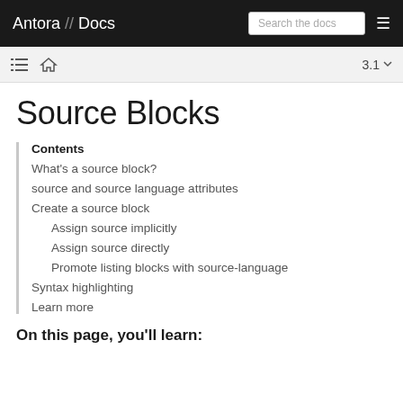Antora // Docs  Search the docs  ☰
Source Blocks
Contents
What's a source block?
source and source language attributes
Create a source block
Assign source implicitly
Assign source directly
Promote listing blocks with source-language
Syntax highlighting
Learn more
On this page, you'll learn: